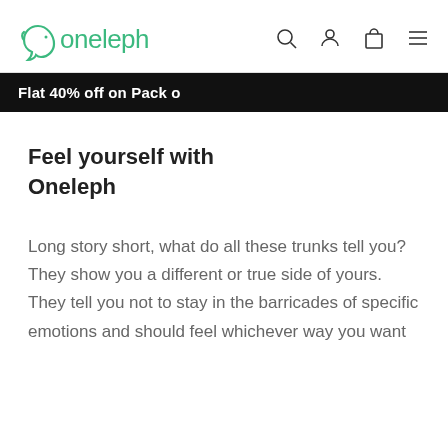oneleph — navigation header with logo, search, account, cart, menu icons
Flat 40% off on Pack o
Feel yourself with Oneleph
Long story short, what do all these trunks tell you? They show you a different or true side of yours. They tell you not to stay in the barricades of specific emotions and should feel whichever way you want